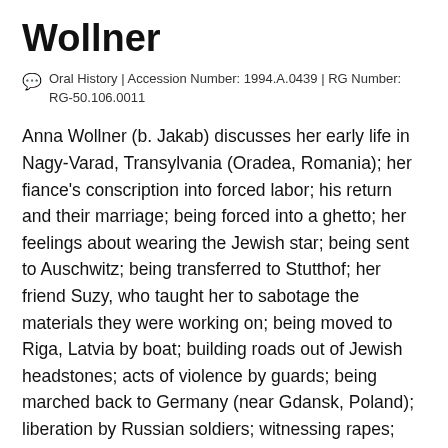Wollner
Oral History | Accession Number: 1994.A.0439 | RG Number: RG-50.106.0011
Anna Wollner (b. Jakab) discusses her early life in Nagy-Varad, Transylvania (Oradea, Romania); her fiance's conscription into forced labor; his return and their marriage; being forced into a ghetto; her feelings about wearing the Jewish star; being sent to Auschwitz; being transferred to Stutthof; her friend Suzy, who taught her to sabotage the materials they were working on; being moved to Riga, Latvia by boat; building roads out of Jewish headstones; acts of violence by guards; being marched back to Germany (near Gdansk, Poland); liberation by Russian soldiers; witnessing rapes; returning to Budapest, Hungary; reuniting with her husband; leaving for Munich, Germany after the communists arrived; immigrating to the United States in 1949; divorcing and moving to Israel;